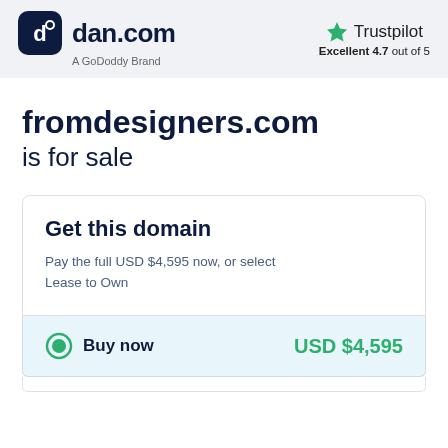dan.com — A GoDoddy Brand | Trustpilot Excellent 4.7 out of 5
fromdesigners.com is for sale
Get this domain
Pay the full USD $4,595 now, or select Lease to Own
Buy now   USD $4,595